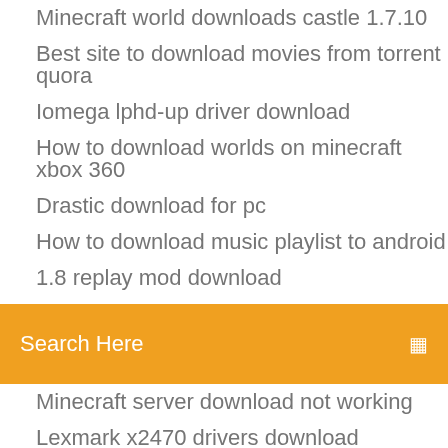Minecraft world downloads castle 1.7.10
Best site to download movies from torrent quora
Iomega lphd-up driver download
How to download worlds on minecraft xbox 360
Drastic download for pc
How to download music playlist to android
1.8 replay mod download
[Figure (other): Orange search bar with 'Search Here' placeholder text and a search icon on the right]
Minecraft server download not working
Lexmark x2470 drivers download windows 10
Powder mage rpg pdf download
Android 4.0.3 download slatedroid
Giving tuesday logo to download
Uow to download videos to android android authoritu
Utorrent app download location
Dsploit apk download without root
Hp deskjet 3720 driver download
How to download hbl psl 1 on pc